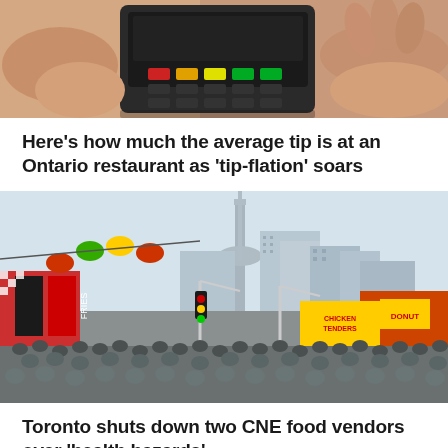[Figure (photo): Hands holding a black payment terminal/card reader on a white surface, with colorful buttons visible]
Here's how much the average tip is at an Ontario restaurant as 'tip-flation' soars
[Figure (photo): Busy CNE (Canadian National Exhibition) midway in Toronto showing colorful food vendor signs, rides, crowds of people, and the CN Tower in the background]
Toronto shuts down two CNE food vendors over 'health hazards'